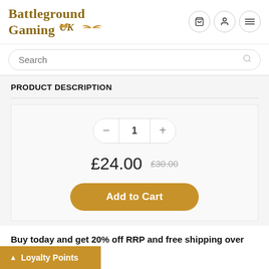[Figure (logo): Battleground Gaming UK logo with gold serif text and wing emblem]
[Figure (screenshot): Navigation icons: cart, user, and hamburger menu in circular borders]
Search
PRODUCT DESCRIPTION
[Figure (screenshot): Quantity stepper showing minus button, 1, plus button with pill-shaped border]
£24.00  £30.00
Add to Cart
Buy today and get 20% off RRP and free shipping over £75.00. within the UK
Loyalty Points